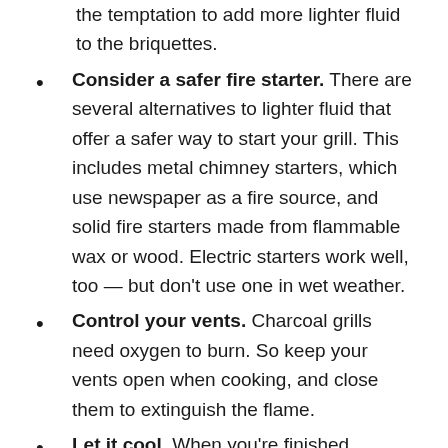the temptation to add more lighter fluid to the briquettes.
Consider a safer fire starter. There are several alternatives to lighter fluid that offer a safer way to start your grill. This includes metal chimney starters, which use newspaper as a fire source, and solid fire starters made from flammable wax or wood. Electric starters work well, too — but don't use one in wet weather.
Control your vents. Charcoal grills need oxygen to burn. So keep your vents open when cooking, and close them to extinguish the flame.
Let it cool. When you're finished cooking, give your grill enough time to cool down completely before covering it. This is important for gas grills, too. But charcoal grills take much longer to cool because